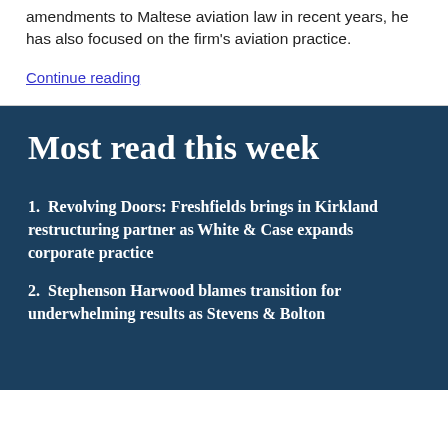amendments to Maltese aviation law in recent years, he has also focused on the firm's aviation practice.
Continue reading
Most read this week
1.  Revolving Doors: Freshfields brings in Kirkland restructuring partner as White & Case expands corporate practice
2.  Stephenson Harwood blames transition for underwhelming results as Stevens & Bolton